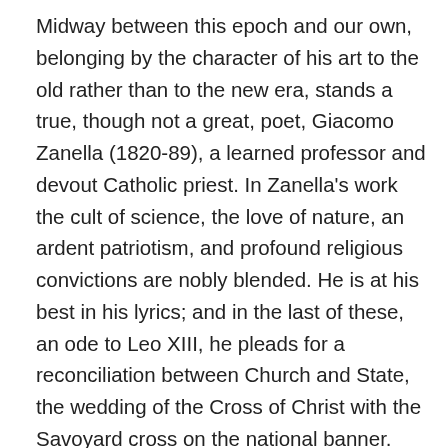Midway between this epoch and our own, belonging by the character of his art to the old rather than to the new era, stands a true, though not a great, poet, Giacomo Zanella (1820-89), a learned professor and devout Catholic priest. In Zanella's work the cult of science, the love of nature, an ardent patriotism, and profound religious convictions are nobly blended. He is at his best in his lyrics; and in the last of these, an ode to Leo XIII, he pleads for a reconciliation between Church and State, the wedding of the Cross of Christ with the Savoyard cross on the national banner. Since the unification of Italy, more has been accomplished in economics and in social science than in pure literature. One modern Italian, indeed, takes his place among the foremost European poets of the nineteenth century - Giosuè Carducci (1836-1906). A bitter opponent of the Christian ideal and a strenuous democrat, Carducci has given poetic form to the anti-clerical side of the Revolution